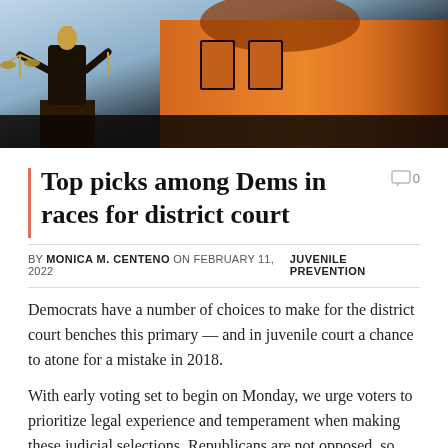[Figure (photo): A close-up photo of a Lady Justice statue with golden scales against an orange-lit courthouse building in the background at dusk.]
Top picks among Dems in races for district court
BY MONICA M. CENTENO ON FEBRUARY 11, 2022   JUVENILE PREVENTION
Democrats have a number of choices to make for the district court benches this primary — and in juvenile court a chance to atone for a mistake in 2018.
With early voting set to begin on Monday, we urge voters to prioritize legal experience and temperament when making these judicial selections. Republicans are not opposed, so here are our